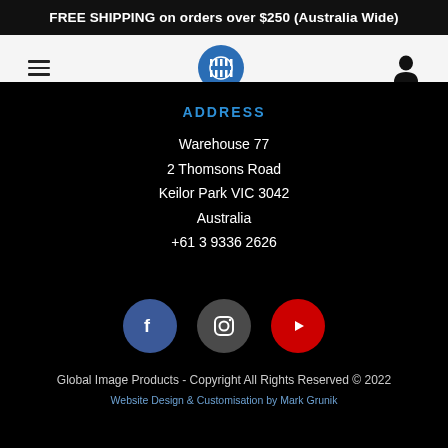FREE SHIPPING on orders over $250 (Australia Wide)
[Figure (logo): Navigation bar with hamburger menu, circular logo with letter marks, and user account icon]
ADDRESS
Warehouse 77
2 Thomsons Road
Keilor Park VIC 3042
Australia
+61 3 9336 2626
[Figure (infographic): Social media icons row: Facebook (blue circle with f), Instagram (dark grey circle with camera icon), YouTube (red circle with play button)]
Global Image Products - Copyright All Rights Reserved © 2022
Website Design & Customisation by Mark Grunik